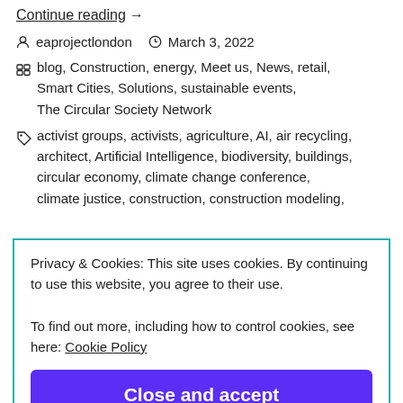Continue reading →
eaprojectlondon   March 3, 2022
blog, Construction, energy, Meet us, News, retail, Smart Cities, Solutions, sustainable events, The Circular Society Network
activist groups, activists, agriculture, AI, air recycling, architect, Artificial Intelligence, biodiversity, buildings, circular economy, climate change conference, climate justice, construction, construction modeling,
Privacy & Cookies: This site uses cookies. By continuing to use this website, you agree to their use. To find out more, including how to control cookies, see here: Cookie Policy
Close and accept